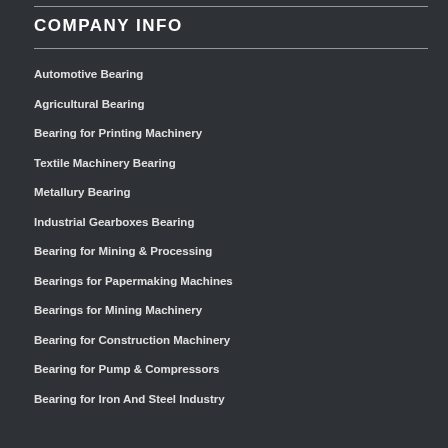COMPANY INFO
Automotive Bearing
Agricultural Bearing
Bearing for Printing Machinery
Textile Machinery Bearing
Metallury Bearing
Industrial Gearboxes Bearing
Bearing for Mining & Processing
Bearings for Papermaking Machines
Bearings for Mining Machinery
Bearing for Construction Machinery
Bearing for Pump & Compressors
Bearing for Iron And Steel Industry